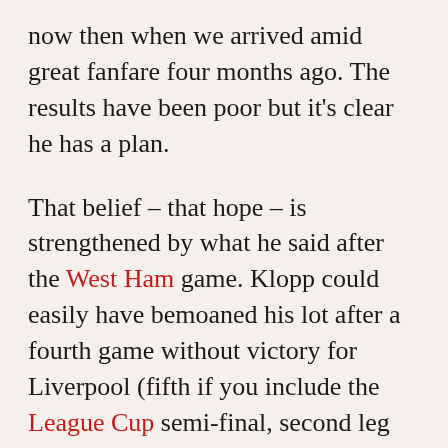now then when we arrived amid great fanfare four months ago. The results have been poor but it's clear he has a plan.

That belief – that hope – is strengthened by what he said after the West Ham game. Klopp could easily have bemoaned his lot after a fourth game without victory for Liverpool (fifth if you include the League Cup semi-final, second leg against Stoke at Anfield that required penalties for the hosts to prevail) and yet another in which his seemingly brainless side conceded from a set-piece. Instead he focused on the positives, drawing on the strength of the collective to put forward a case in believing that the bright future starts now. And well, there could be no brighter start in that context than the owners bowing to